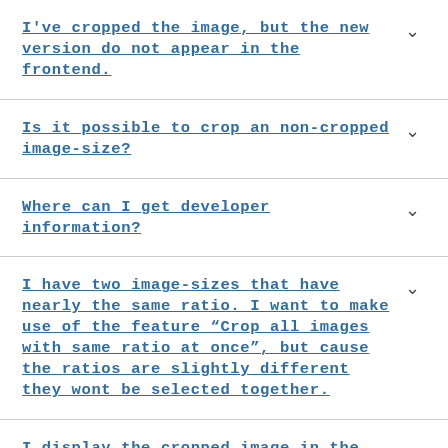I've cropped the image, but the new version do not appear in the frontend.
Is it possible to crop an non-cropped image-size?
Where can I get developer information?
I have two image-sizes that have nearly the same ratio. I want to make use of the feature “Crop all images with same ratio at once”, but cause the ratios are slightly different they wont be selected together.
I display the cropped image in the backend in an custom meta-box. It does